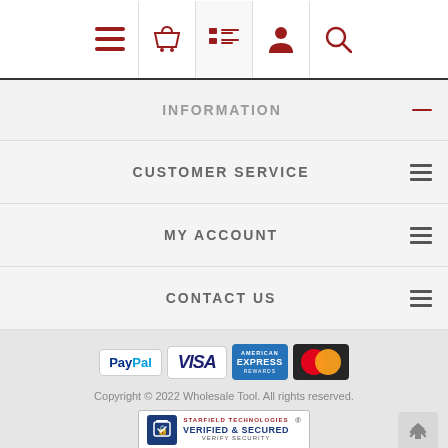Navigation icons: menu, basket, list, account, search
INFORMATION
CUSTOMER SERVICE
MY ACCOUNT
CONTACT US
[Figure (logo): Payment logos: PayPal, VISA, American Express, MasterCard]
Copyright © 2022 Wholesale Tool. All rights reserved.
[Figure (logo): Starfield Technologies Verified & Secured badge]